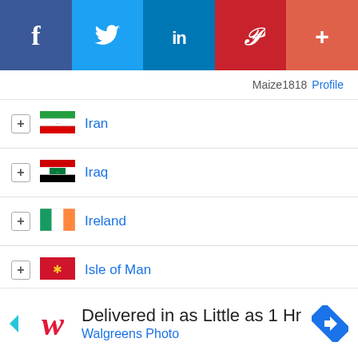[Figure (infographic): Social media sharing toolbar with Facebook, Twitter, LinkedIn, Pinterest, and More (+) buttons]
Maize1818 Profile
Iran
Iraq
Ireland
Isle of Man
Italy
Japan
[Figure (infographic): Advertisement for Walgreens Photo: Delivered in as Little as 1 Hr, with Walgreens logo and navigation arrow icon]